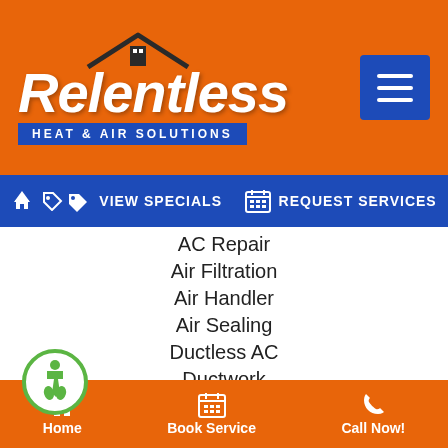[Figure (logo): Relentless Heat & Air Solutions logo with house/roof graphic on orange background]
VIEW SPECIALS | REQUEST SERVICES
AC Repair
Air Filtration
Air Handler
Air Sealing
Ductless AC
Ductwork
Furnaces
Humidifier Replacement
Home | Book Service | Call Now!